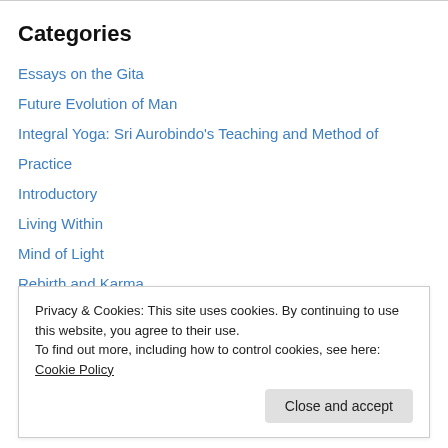Categories
Essays on the Gita
Future Evolution of Man
Integral Yoga: Sri Aurobindo's Teaching and Method of Practice
Introductory
Living Within
Mind of Light
Rebirth and Karma
Secret of the Veda and Hymns to the Mystic Fire
Sri M.P. Pandit: Spiritual Collectivities
The Human Cycle: The Psychology of Social Development
Privacy & Cookies: This site uses cookies. By continuing to use this website, you agree to their use. To find out more, including how to control cookies, see here: Cookie Policy
Close and accept